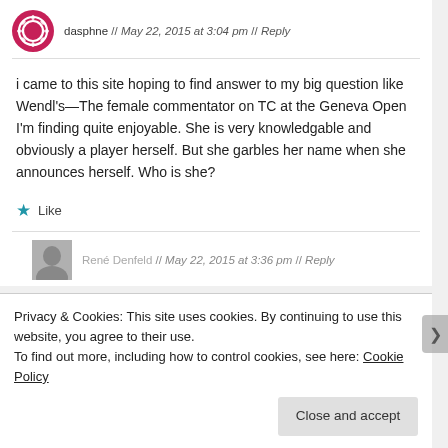dasphne // May 22, 2015 at 3:04 pm // Reply
i came to this site hoping to find answer to my big question like Wendl's—The female commentator on TC at the Geneva Open I'm finding quite enjoyable. She is very knowledgable and obviously a player herself. But she garbles her name when she announces herself. Who is she?
★ Like
René Denfeld // May 22, 2015 at 3:36 pm // Reply
Privacy & Cookies: This site uses cookies. By continuing to use this website, you agree to their use.
To find out more, including how to control cookies, see here: Cookie Policy
Close and accept